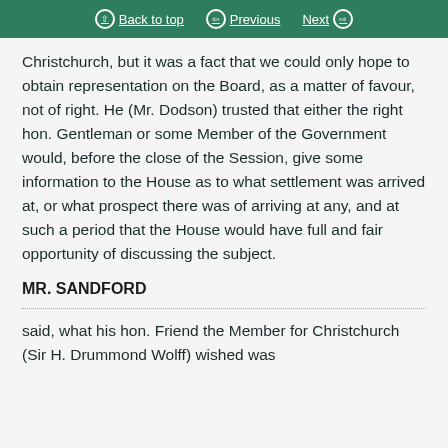Back to top  Previous  Next
Christchurch, but it was a fact that we could only hope to obtain representation on the Board, as a matter of favour, not of right. He (Mr. Dodson) trusted that either the right hon. Gentleman or some Member of the Government would, before the close of the Session, give some information to the House as to what settlement was arrived at, or what prospect there was of arriving at any, and at such a period that the House would have full and fair opportunity of discussing the subject.
MR. SANDFORD
said, what his hon. Friend the Member for Christchurch (Sir H. Drummond Wolff) wished was